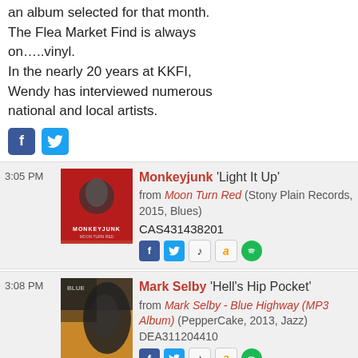an album selected for that month. The Flea Market Find is always on…..vinyl. In the nearly 20 years at KKFI, Wendy has interviewed numerous national and local artists.
[Figure (other): Facebook and Twitter social icons]
3:05 PM — Monkeyjunk 'Light It Up' from Moon Turn Red (Stony Plain Records, 2015, Blues) CAS431438201
3:08 PM — Mark Selby 'Hell's Hip Pocket' from Mark Selby - Blue Highway (MP3 Album) (PepperCake, 2013, Jazz) DEA311204410
3:18 PM — Johnny Winter 'Killing Floor'